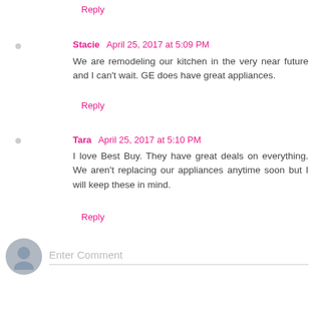Reply
Stacie  April 25, 2017 at 5:09 PM
We are remodeling our kitchen in the very near future and I can't wait. GE does have great appliances.
Reply
Tara  April 25, 2017 at 5:10 PM
I love Best Buy. They have great deals on everything. We aren't replacing our appliances anytime soon but I will keep these in mind.
Reply
Enter Comment